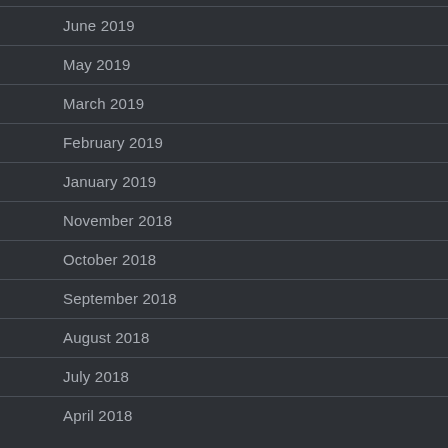June 2019
May 2019
March 2019
February 2019
January 2019
November 2018
October 2018
September 2018
August 2018
July 2018
April 2018